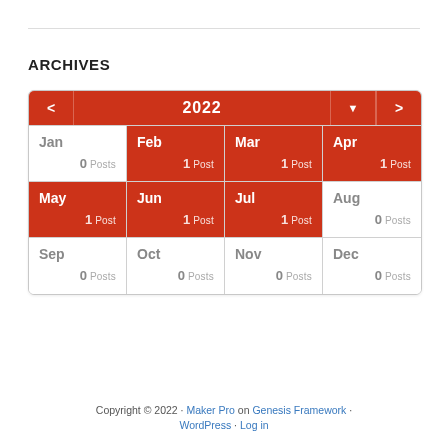ARCHIVES
[Figure (other): Monthly archive calendar widget for 2022 showing post counts per month. Jan: 0 Posts, Feb: 1 Post, Mar: 1 Post, Apr: 1 Post, May: 1 Post, Jun: 1 Post, Jul: 1 Post, Aug: 0 Posts, Sep: 0 Posts, Oct: 0 Posts, Nov: 0 Posts, Dec: 0 Posts. Active (red) months: Feb, Mar, Apr, May, Jun, Jul.]
Copyright © 2022 · Maker Pro on Genesis Framework · WordPress · Log in